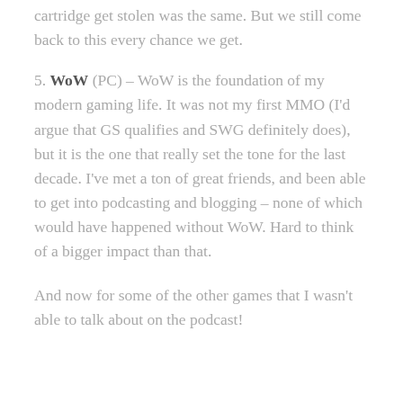cartridge get stolen was the same. But we still come back to this every chance we get.
5. WoW (PC) – WoW is the foundation of my modern gaming life. It was not my first MMO (I'd argue that GS qualifies and SWG definitely does), but it is the one that really set the tone for the last decade. I've met a ton of great friends, and been able to get into podcasting and blogging – none of which would have happened without WoW. Hard to think of a bigger impact than that.
And now for some of the other games that I wasn't able to talk about on the podcast!